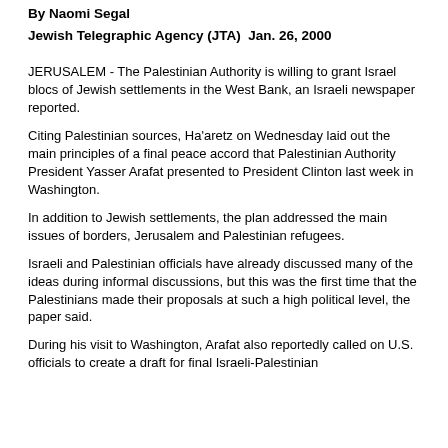By Naomi Segal
Jewish Telegraphic Agency (JTA)  Jan. 26, 2000
JERUSALEM - The Palestinian Authority is willing to grant Israel blocs of Jewish settlements in the West Bank, an Israeli newspaper reported.
Citing Palestinian sources, Ha'aretz on Wednesday laid out the main principles of a final peace accord that Palestinian Authority President Yasser Arafat presented to President Clinton last week in Washington.
In addition to Jewish settlements, the plan addressed the main issues of borders, Jerusalem and Palestinian refugees.
Israeli and Palestinian officials have already discussed many of the ideas during informal discussions, but this was the first time that the Palestinians made their proposals at such a high political level, the paper said.
During his visit to Washington, Arafat also reportedly called on U.S. officials to create a draft for final Israeli-Palestinian...